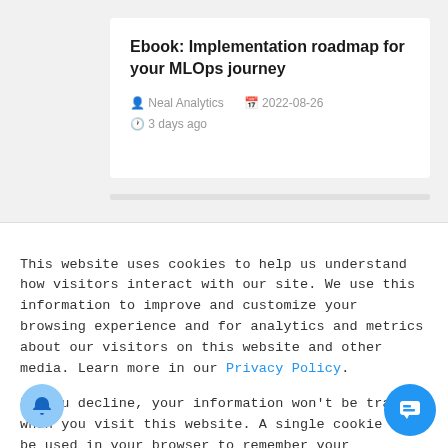Ebook: Implementation roadmap for your MLOps journey
Neal Analytics  2022-08-26  3 days ago
This website uses cookies to help us understand how visitors interact with our site. We use this information to improve and customize your browsing experience and for analytics and metrics about our visitors on this website and other media. Learn more in our Privacy Policy.
If you decline, your information won’t be tracked when you visit this website. A single cookie will be used in your browser to remember your preference not to be tracked.
Got it!
No, thanks